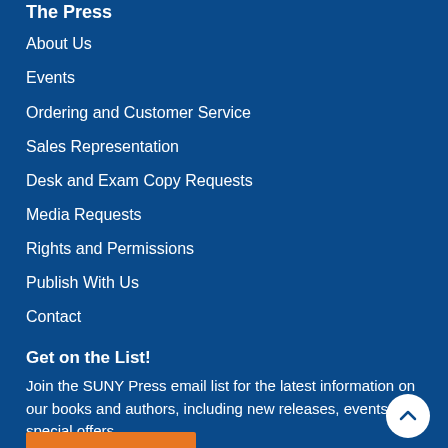The Press
About Us
Events
Ordering and Customer Service
Sales Representation
Desk and Exam Copy Requests
Media Requests
Rights and Permissions
Publish With Us
Contact
Get on the List!
Join the SUNY Press email list for the latest information on our books and authors, including new releases, events, and special offers.